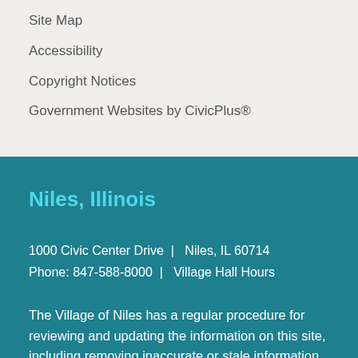Site Map
Accessibility
Copyright Notices
Government Websites by CivicPlus®
Niles, Illinois
1000 Civic Center Drive  |  Niles, IL 60714
Phone: 847-588-8000  |  Village Hall Hours
The Village of Niles has a regular procedure for reviewing and updating the information on this site, including removing inaccurate or stale information. Although we do our best, the